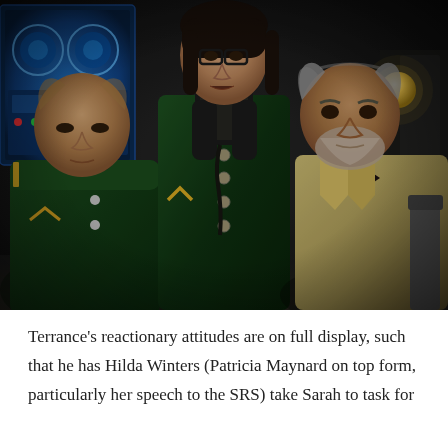[Figure (photo): A scene from a TV production showing three people in a dark studio setting. A woman stands in the center wearing a dark green uniform with black leather gloves, speaking into a device. A seated man in a green uniform is visible on the left, and an older bearded man in a beige coat sits on the right. Blue screens/consoles are visible in the background on the left.]
Terrance's reactionary attitudes are on full display, such that he has Hilda Winters (Patricia Maynard on top form, particularly her speech to the SRS) take Sarah to task for